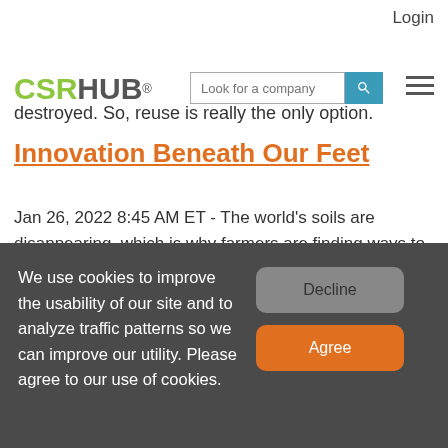Login
[Figure (logo): CSRHUB logo with search bar and hamburger menu]
destroyed. So, reuse is really the only option.
Innovation Beneath Our Feet
Jan 26, 2022 8:45 AM ET - The world's soils are disappearing, which is why farmers are finding ways to work with beneficial bacteria to help crops and entire ecosystems
We use cookies to improve the usability of our site and to analyze traffic patterns so we can improve our utility. Please agree to our use of cookies.